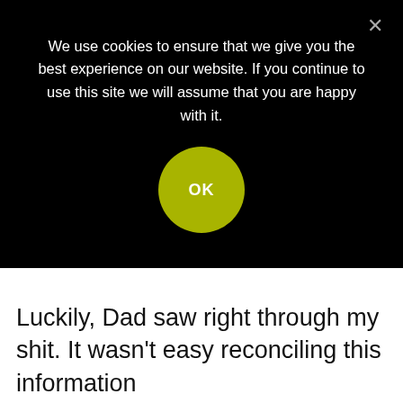We use cookies to ensure that we give you the best experience on our website. If you continue to use this site we will assume that you are happy with it.
[Figure (other): Cookie consent banner with black background, white text, a yellow-green OK button, and a close X icon]
Luckily, Dad saw right through my shit. It wasn't easy reconciling this information that I might not be OK, and I didn't do anything immediately to help my